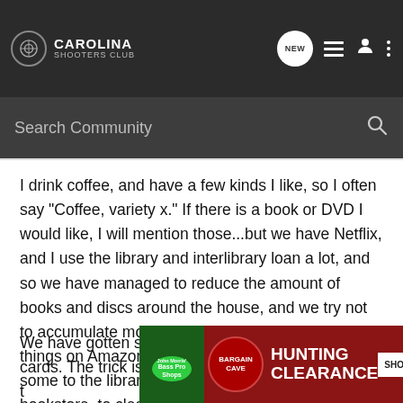CAROLINA SHOOTERS CLUB
Search Community
I drink coffee, and have a few kinds I like, so I often say "Coffee, variety x." If there is a book or DVD I would like, I will mention those...but we have Netflix, and I use the library and interlibrary loan a lot, and so we have managed to reduce the amount of books and discs around the house, and we try not to accumulate more of that stuff. (I sold a bunch of things on Amazon over the years, and donated some to the library, and sold some at the used bookstore, to clean stuff out.) Consumables are great, because they don't take up room afterwards!
We have gotten some in the family to switch to gift cards. The trick is t... y to shop. D... e I can
[Figure (screenshot): Bass Pro Shops Hunting Clearance advertisement banner with BARGAIN CAVE badge and SHOP NOW button]